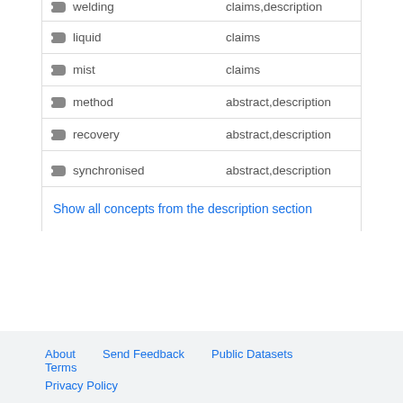| Concept | Section |
| --- | --- |
| ■ welding | claims,description |
| ■ liquid | claims |
| ■ mist | claims |
| ■ method | abstract,description |
| ■ recovery | abstract,description |
| ■ synchronised | abstract,description |
Show all concepts from the description section
About   Send Feedback   Public Datasets   Terms   Privacy Policy